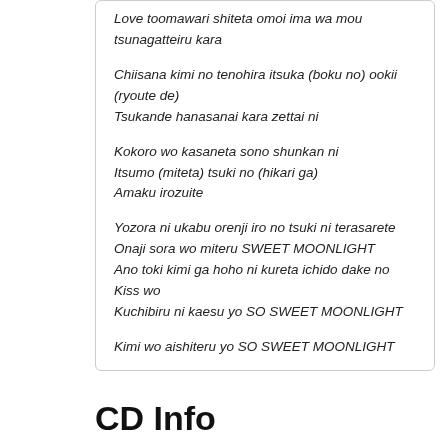Love toomawari shiteta omoi ima wa mou tsunagatteiru kara
Chiisana kimi no tenohira itsuka (boku no) ookii (ryoute de)
Tsukande hanasanai kara zettai ni
Kokoro wo kasaneta sono shunkan ni
Itsumo (miteta) tsuki no (hikari ga)
Amaku irozuite
Yozora ni ukabu orenji iro no tsuki ni terasarete
Onaji sora wo miteru SWEET MOONLIGHT
Ano toki kimi ga hoho ni kureta ichido dake no Kiss wo
Kuchibiru ni kaesu yo SO SWEET MOONLIGHT
Kimi wo aishiteru yo SO SWEET MOONLIGHT
CD Info